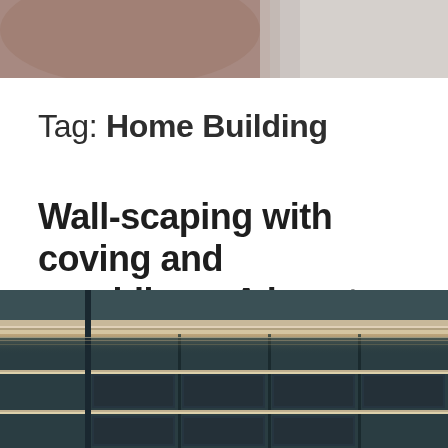[Figure (photo): Partial photo at top of page, showing what appears to be a person's shoulder/arm area in muted warm tones]
Tag: Home Building
Wall-scaping with coving and mouldings. A how to guide.
[Figure (photo): Interior architectural photo showing elegant ceiling coving and wall mouldings with dark teal walls and ornate white trim details]